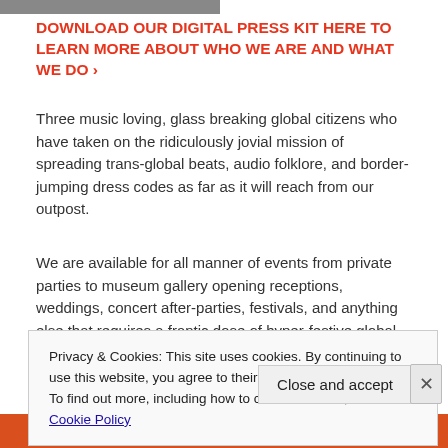[Figure (photo): Partial image at top left, cropped]
DOWNLOAD OUR DIGITAL PRESS KIT HERE TO LEARN MORE ABOUT WHO WE ARE AND WHAT WE DO ›
Three music loving, glass breaking global citizens who have taken on the ridiculously jovial mission of spreading trans-global beats, audio folklore, and border-jumping dress codes as far as it will reach from our outpost.
We are available for all manner of events from private parties to museum gallery opening receptions, weddings, concert after-parties, festivals, and anything else that requires a frantic dose of hyper-festive global appeal.
Privacy & Cookies: This site uses cookies. By continuing to use this website, you agree to their use.
To find out more, including how to control cookies, see here: Cookie Policy
[Figure (screenshot): Bottom banner with orange background and 'with more privacy.' text and a circular logo]